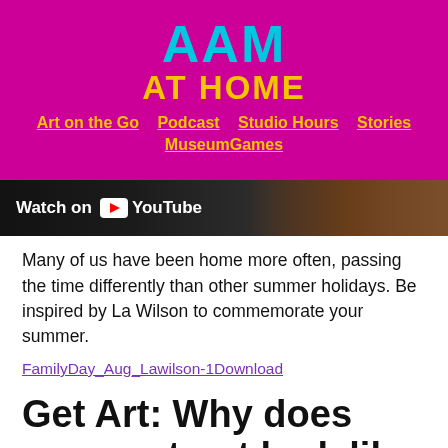[Figure (logo): AAM AT HOME logo on magenta background with cyan AAM text and yellow AT HOME text]
Art on the Go  Podcast  Studio Hours  Stories  MuseumGames
[Figure (screenshot): YouTube Watch On banner with crafts/art supplies in background]
Many of us have been home more often, passing the time differently than other summer holidays. Be inspired by La Wilson to commemorate your summer.
FamilyDay_Aug_Lawilson-1Download
Get Art: Why does some art not look like anything?